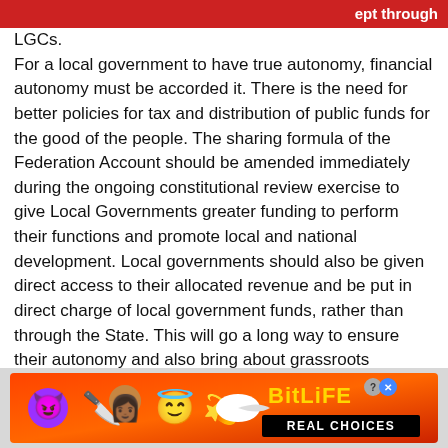ept through LGCs.
For a local government to have true autonomy, financial autonomy must be accorded it. There is the need for better policies for tax and distribution of public funds for the good of the people. The sharing formula of the Federation Account should be amended immediately during the ongoing constitutional review exercise to give Local Governments greater funding to perform their functions and promote local and national development. Local governments should also be given direct access to their allocated revenue and be put in direct charge of local government funds, rather than through the State. This will go a long way to ensure their autonomy and also bring about grassroots development.
[Figure (infographic): BitLife REAL CHOICES mobile game advertisement banner with emoji characters (devil, woman with knives, angel emoji) and game logo on orange/red gradient background]